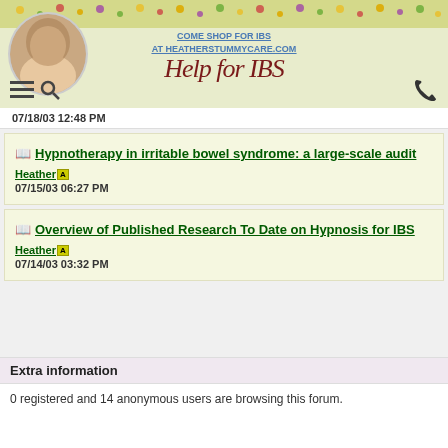COME SHOP FOR IBS AT HEATHERSTUMMYCARE.COM
[Figure (logo): Help for IBS logo with decorative script font]
07/18/03 12:48 PM
Hypnotherapy in irritable bowel syndrome: a large-scale audit
Heather [A] 07/15/03 06:27 PM
Overview of Published Research To Date on Hypnosis for IBS
Heather [A] 07/14/03 03:32 PM
Extra information
0 registered and 14 anonymous users are browsing this forum.